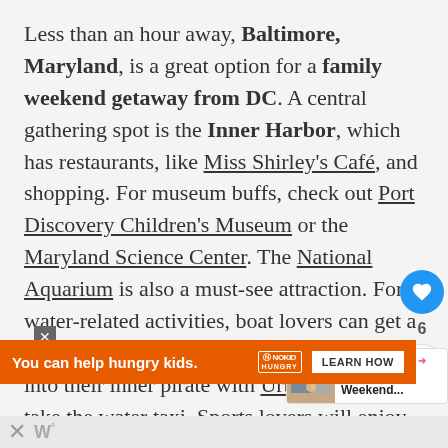Less than an hour away, Baltimore, Maryland, is a great option for a family weekend getaway from DC. A central gathering spot is the Inner Harbor, which has restaurants, like Miss Shirley's Café, and shopping. For museum buffs, check out Port Discovery Children's Museum or the Maryland Science Center. The National Aquarium is also a must-see attraction. For water-related activities, boat lovers can get a glimpse into life at sea at Historic Ships, tap into their inner pirate with Urban Pirates, or take the water taxi. Sports lovers will enjoy Camden Yards, home of the Baltimore Orioles, and the Baltimore Ravens' M&T Bank Stadium. Tours are offered in
[Figure (screenshot): UI overlay: heart/like button (blue circle with heart icon), count '6', and share button. Also 'WHAT'S NEXT' card showing a thumbnail image and text '6 Amazing Weekend...']
[Figure (infographic): Orange advertisement bar: 'You can help hungry kids.' with No Kid Hungry logo and 'LEARN HOW' button. Close X button shown.]